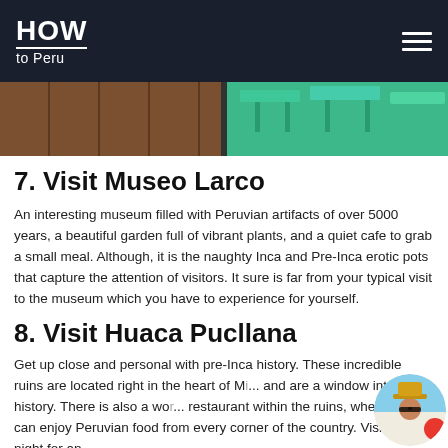HOW to Peru
[Figure (photo): Partial view of a cafe interior with wooden floor and teal/mint colored stools]
7. Visit Museo Larco
An interesting museum filled with Peruvian artifacts of over 5000 years, a beautiful garden full of vibrant plants, and a quiet cafe to grab a small meal. Although, it is the naughty Inca and Pre-Inca erotic pots that capture the attention of visitors. It sure is far from your typical visit to the museum which you have to experience for yourself.
8. Visit Huaca Pucllana
Get up close and personal with pre-Inca history. These incredible ruins are located right in the heart of Mi... and are a window into history. There is also a wor... restaurant within the ruins, where you can enjoy Peruvian food from every corner of the country. Visit at night for an